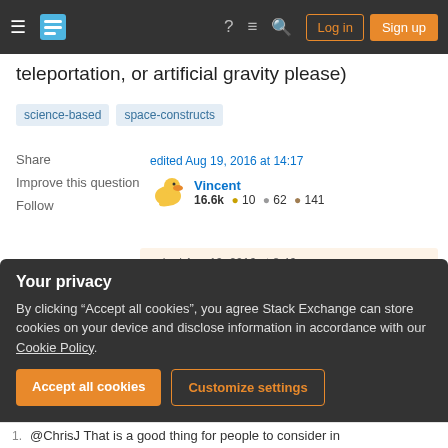Stack Exchange navigation bar with hamburger menu, logo, help, chat, search icons, Log in and Sign up buttons
teleportation, or artificial gravity please)
science-based   space-constructs
Share
Improve this question
Follow
edited Aug 19, 2016 at 14:17
Vincent
16.6k  10  62  141
asked Aug 19, 2016 at 8:46
Aric
5,345  2  20  51
Your privacy
By clicking "Accept all cookies", you agree Stack Exchange can store cookies on your device and disclose information in accordance with our Cookie Policy.
Accept all cookies   Customize settings
1.   @ChrisJ That is a good thing for people to consider in